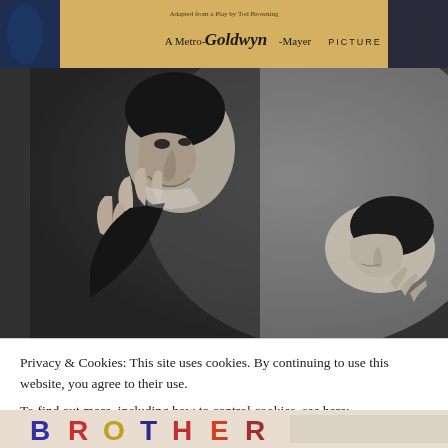[Figure (photo): Top portion of a vintage MGM movie poster with text 'A Metro-Goldwyn-Mayer Picture' in stylized font]
[Figure (photo): Black and white film still showing a dramatic scene with a man in dark clothing leaning menacingly over a reclining figure, hands posed in a claw-like gesture]
Privacy & Cookies: This site uses cookies. By continuing to use this website, you agree to their use.
To find out more, including how to control cookies, see here:
Cookie Policy
Close and accept
[Figure (photo): Bottom strip showing colorful vintage movie poster text reading 'BROTHER' in large stylized letters]